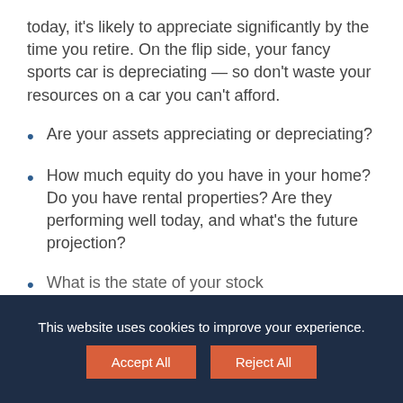today, it's likely to appreciate significantly by the time you retire. On the flip side, your fancy sports car is depreciating — so don't waste your resources on a car you can't afford.
Are your assets appreciating or depreciating?
How much equity do you have in your home? Do you have rental properties? Are they performing well today, and what's the future projection?
What is the state of your stock
This website uses cookies to improve your experience.
Accept All   Reject All